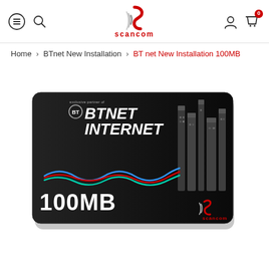Scancom - navigation header with menu, search, logo, account and cart icons
Home > BTnet New Installation > BT net New Installation 100MB
[Figure (photo): BTNET INTERNET 100MB product card on dark background with BT logo, colorful wave lines, digital city towers, and Scancom branding]